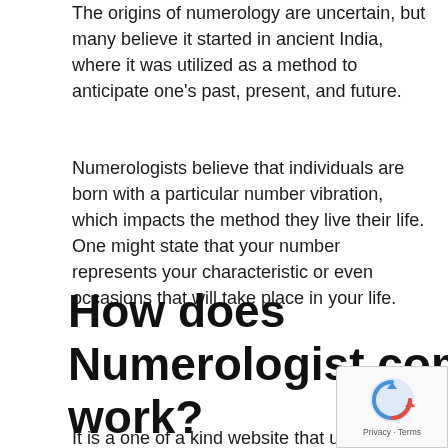The origins of numerology are uncertain, but many believe it started in ancient India, where it was utilized as a method to anticipate one's past, present, and future.
Numerologists believe that individuals are born with a particular number vibration, which impacts the method they live their life. One might state that your number represents your characteristic or even occasions that will take place in your life.
How does Numerologist.com work?
It is a one of a kind website that utili...